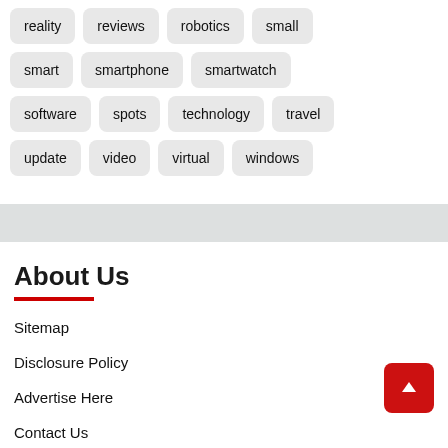reality
reviews
robotics
small
smart
smartphone
smartwatch
software
spots
technology
travel
update
video
virtual
windows
About Us
Sitemap
Disclosure Policy
Advertise Here
Contact Us